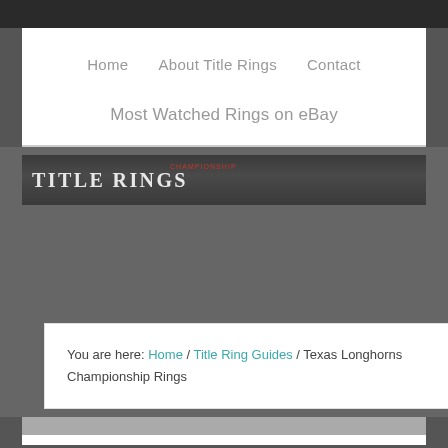Home | About Title Rings | Contact
Most Watched Rings on eBay
[Figure (logo): Title Rings website logo banner — dark background with 'TITLE RINGS' text in white serif uppercase letters]
You are here: Home / Title Ring Guides / Texas Longhorns Championship Rings